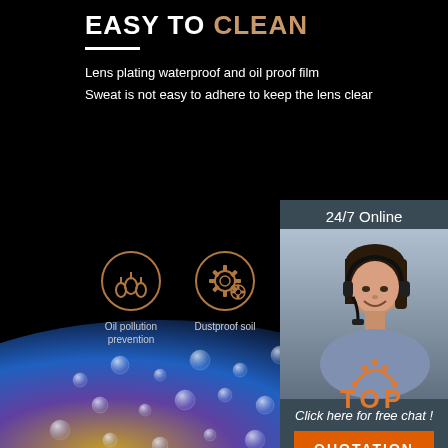EASY TO CLEAN
Lens plating waterproof and oil proof film
Sweat is not easy to adhere to keep the lens clear
[Figure (illustration): Two circular icons: oil droplets icon labeled 'Oil pollution prevention' and gear/dust icon labeled 'Dustproof soil', on dark background]
[Figure (photo): Close-up photo of a lens or glass surface with colorful water droplets showing blue, yellow, and orange reflections on black background]
24/7 Online
[Figure (photo): Photo of a smiling woman with headset (customer service representative) on dark blue-grey background]
Click here for free chat !
QUOTATION
[Figure (logo): TOP logo with orange arc/mountain icon above the word TOP in orange letters]